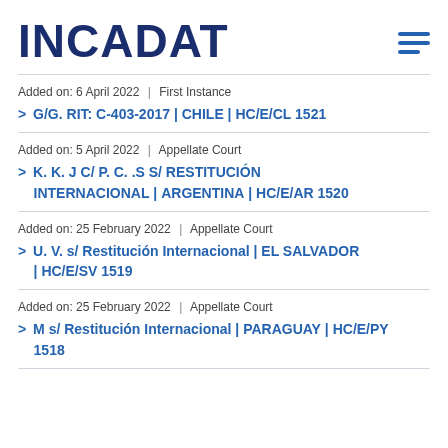INCADAT
Added on: 6 April 2022 | First Instance
> G/G. RIT: C-403-2017 | CHILE | HC/E/CL 1521
Added on: 5 April 2022 | Appellate Court
> K. K. J C/ P. C. .S S/ RESTITUCIÓN INTERNACIONAL | ARGENTINA | HC/E/AR 1520
Added on: 25 February 2022 | Appellate Court
> U. V. s/ Restitución Internacional | EL SALVADOR | HC/E/SV 1519
Added on: 25 February 2022 | Appellate Court
> M s/ Restitución Internacional | PARAGUAY | HC/E/PY 1518